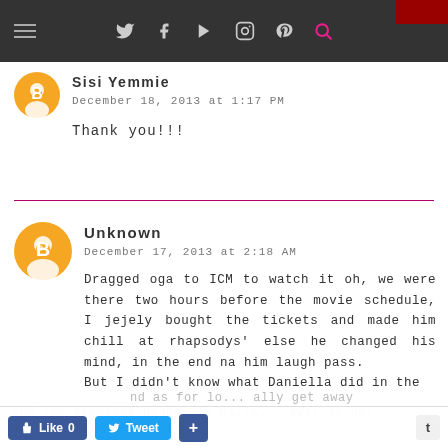Navigation bar with social icons (Twitter, Facebook, YouTube, Instagram, Pinterest, Search)
Sisi Yemmie
December 18, 2013 at 1:17 PM
Thank you!!!
Unknown
December 17, 2013 at 2:18 AM
Dragged oga to ICM to watch it oh, we were there two hours before the movie schedule, I jejely bought the tickets and made him chill at rhapsodys' else he changed his mind, in the end na him laugh pass.
But I didn't know what Daniella did in the end can actually happen in naija...
Like 0  Tweet  +  t